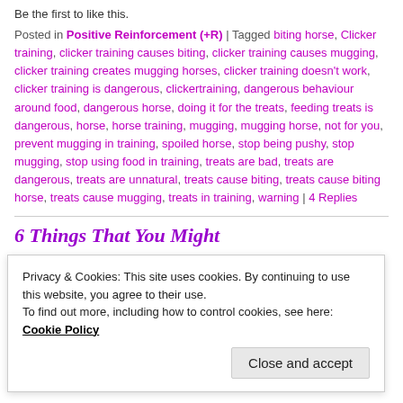Be the first to like this.
Posted in Positive Reinforcement (+R) | Tagged biting horse, Clicker training, clicker training causes biting, clicker training causes mugging, clicker training creates mugging horses, clicker training doesn't work, clicker training is dangerous, clickertraining, dangerous behaviour around food, dangerous horse, doing it for the treats, feeding treats is dangerous, horse, horse training, mugging, mugging horse, not for you, prevent mugging in training, spoiled horse, stop being pushy, stop mugging, stop using food in training, treats are bad, treats are dangerous, treats are unnatural, treats cause biting, treats cause biting horse, treats cause mugging, treats in training, warning | 4 Replies
6 Things That You Might
Privacy & Cookies: This site uses cookies. By continuing to use this website, you agree to their use.
To find out more, including how to control cookies, see here: Cookie Policy
Close and accept